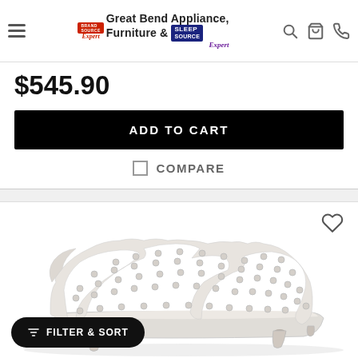Great Bend Appliance, Furniture & SleepSource — navigation header
$545.90
ADD TO CART
COMPARE
[Figure (photo): White tufted chaise lounge with curved back and ornate silver legs on a white background]
FILTER & SORT